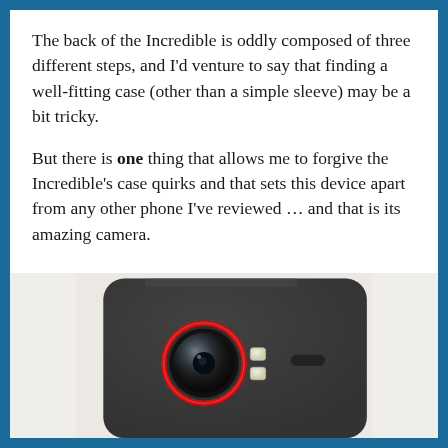The back of the Incredible is oddly composed of three different steps, and I'd venture to say that finding a well-fitting case (other than a simple sleeve) may be a bit tricky.
But there is one thing that allows me to forgive the Incredible's case quirks and that sets this device apart from any other phone I've reviewed … and that is its amazing camera.
[Figure (photo): Close-up photo of the back of the HTC Incredible smartphone, showing the camera lens with red ring surround, dual LED flash, and speaker grille on a dark grey textured back panel.]